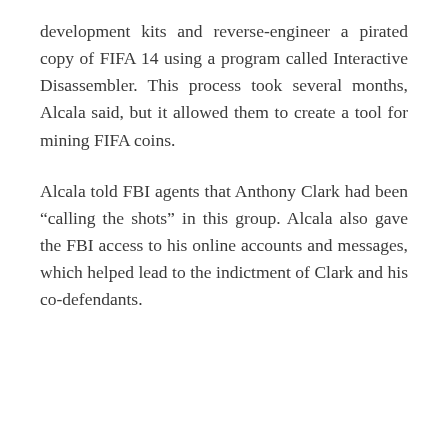development kits and reverse-engineer a pirated copy of FIFA 14 using a program called Interactive Disassembler. This process took several months, Alcala said, but it allowed them to create a tool for mining FIFA coins.
Alcala told FBI agents that Anthony Clark had been “calling the shots” in this group. Alcala also gave the FBI access to his online accounts and messages, which helped lead to the indictment of Clark and his co-defendants.